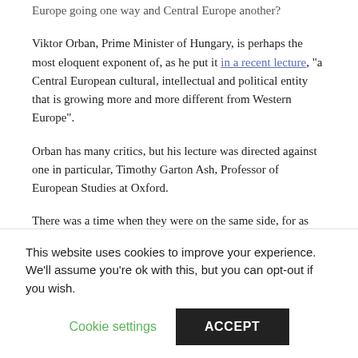Europe going one way and Central Europe another?
Viktor Orban, Prime Minister of Hungary, is perhaps the most eloquent exponent of, as he put it in a recent lecture, "a Central European cultural, intellectual and political entity that is growing more and more different from Western Europe".
Orban has many critics, but his lecture was directed against one in particular, Timothy Garton Ash, Professor of European Studies at Oxford.
There was a time when they were on the same side, for as Orban says:
“The professor has an excellent knowledge of
This website uses cookies to improve your experience. We’ll assume you’re ok with this, but you can opt-out if you wish.
Cookie settings
ACCEPT